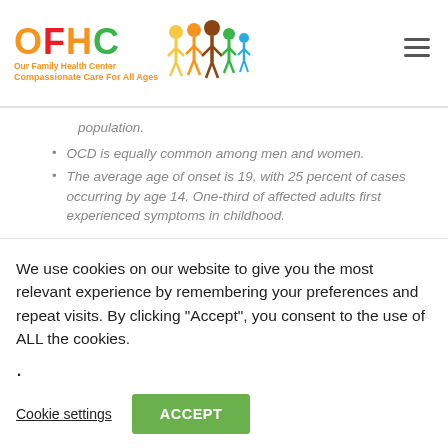OFHC Our Family Health Center Compassionate Care For All Ages
population.
OCD is equally common among men and women.
The average age of onset is 19, with 25 percent of cases occurring by age 14. One-third of affected adults first experienced symptoms in childhood.
Post-traumatic Stress Disorder (PTSD)
PTSD affects 7.7 million adults, or 3.5% of the U.S. population.
Women are more likely to be affected than men.
We use cookies on our website to give you the most relevant experience by remembering your preferences and repeat visits. By clicking “Accept”, you consent to the use of ALL the cookies.
.
Cookie settings   ACCEPT